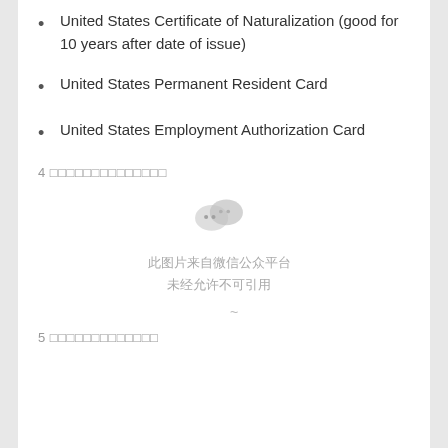United States Certificate of Naturalization (good for 10 years after date of issue)
United States Permanent Resident Card
United States Employment Authorization Card
4 □□□□□□□□□□□□□□
[Figure (logo): WeChat logo icon (two overlapping speech bubble circles in light gray)]
此图片来自微信公众平台
未经允许不可引用
~
5 □□□□□□□□□□□□□